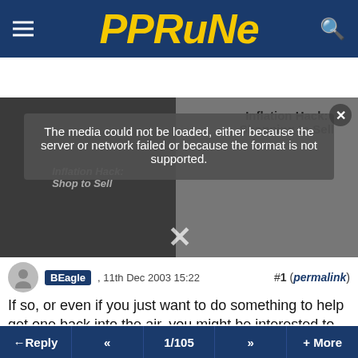PPRuNe
[Figure (screenshot): Failed video/media player showing error message: 'The media could not be loaded, either because the server or network failed or because the format is not supported.' Overlaid on a dark background with an ad for 'Inflation Hack: Shopping to Sell']
#1 (permalink)
BEagle , 11th Dec 2003 15:22
If so, or even if you just want to do something to help get one back into the air, you might be interested to learn that the application to the Heritage Lottery Fund for funding assistance to get XH558 restored to flying status has just passed its first stage. More details here:
Reply  «  1/105  »  + More